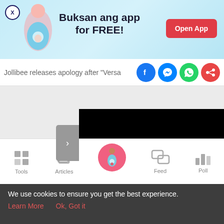[Figure (screenshot): App advertisement banner with light blue background showing pregnancy app illustration. Text reads 'Buksan ang app for FREE!' with an 'Open App' red button.]
Jollibee releases apology after "Versa
[Figure (screenshot): Black media player/video embed area with a grey arrow navigation button on the left side.]
[Figure (screenshot): Bottom navigation bar with icons: Tools (grid), Articles (clipboard), center pregnant woman icon (pink circle), Feed (chat bubbles), Poll (bar chart).]
We use cookies to ensure you get the best experience.
Learn More   Ok, Got it